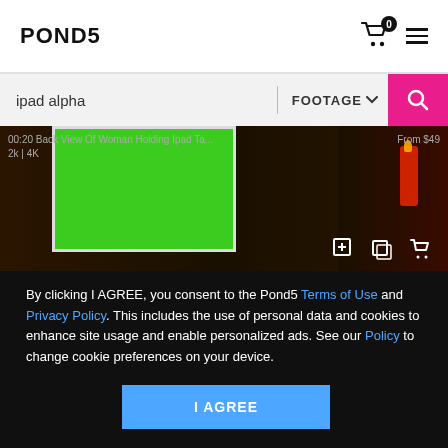POND5
ipad alpha
FOOTAGE
[Figure (screenshot): Video thumbnail showing a hand holding a tablet/iPad with a green screen chroma key display, a lit red candle in the background, dark moody setting. Overlay icons for add, preview, and cart are visible at bottom right.]
By clicking I AGREE, you consent to the Pond5 Terms of Use and Privacy Policy. This includes the use of personal data and cookies to enhance site usage and enable personalized ads. See our Policy to change cookie preferences on your device.
00:20  Back View Of Woman Holding Ipad Ta...  From $49
2k | 4K
I AGREE